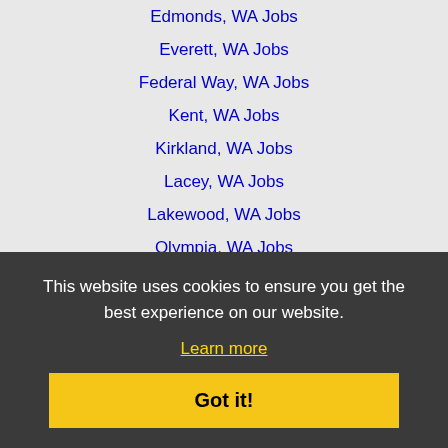Edmonds, WA Jobs
Everett, WA Jobs
Federal Way, WA Jobs
Kent, WA Jobs
Kirkland, WA Jobs
Lacey, WA Jobs
Lakewood, WA Jobs
Olympia, WA Jobs
Redmond, WA Jobs
Renton, WA Jobs
Sammamish, WA Jobs
Seattle, WA Jobs
Seattle Hill/Silver Firs, WA Jobs
Shoreline, WA Jobs
South Hill, WA Jobs
Tacoma, WA Jobs
This website uses cookies to ensure you get the best experience on our website.
Learn more
Got it!